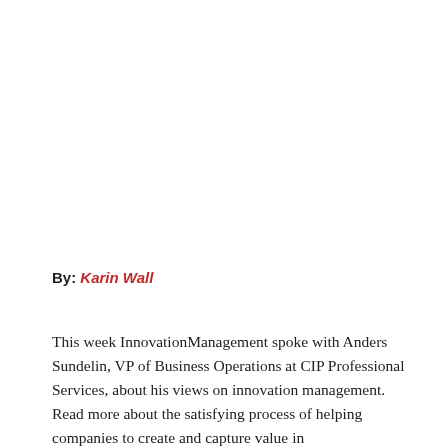By: Karin Wall
This week InnovationManagement spoke with Anders Sundelin, VP of Business Operations at CIP Professional Services, about his views on innovation management. Read more about the satisfying process of helping companies to create and capture value in